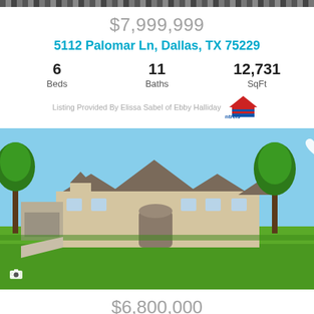$7,999,999
5112 Palomar Ln, Dallas, TX 75229
6 Beds
11 Baths
12,731 SqFt
Listing Provided By Elissa Sabel of Ebby Halliday ntreis
[Figure (photo): Exterior photo of large French country style estate home with green lawn, multiple roof peaks, stone facade, and trees surrounding the property. Camera icon with 38 photo count in lower left. Heart/favorite icon in upper right.]
$6,800,000